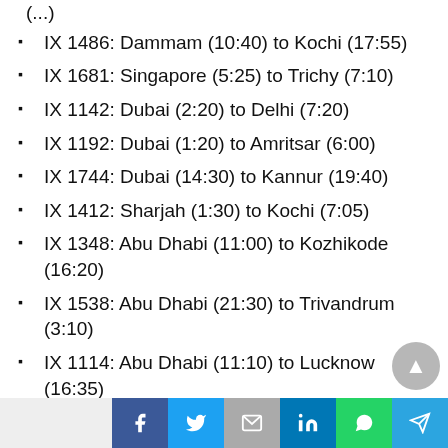IX 1486: Dammam (10:40) to Kochi (17:55)
IX 1681: Singapore (5:25) to Trichy (7:10)
IX 1142: Dubai (2:20) to Delhi (7:20)
IX 1192: Dubai (1:20) to Amritsar (6:00)
IX 1744: Dubai (14:30) to Kannur (19:40)
IX 1412: Sharjah (1:30) to Kochi (7:05)
IX 1348: Abu Dhabi (11:00) to Kozhikode (16:20)
IX 1538: Abu Dhabi (21:30) to Trivandrum (3:10)
IX 1114: Abu Dhabi (11:10) to Lucknow (16:35)
IX 1114: Lucknow (17:20) to Delhi (18:30)
IX 1638: Abu Dhabi (12:15) to Madurai (17:55)
IX 1638: Madurai (18:40) to Chennai (19:40)